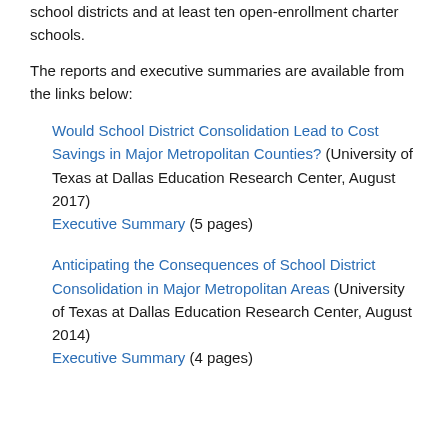school districts and at least ten open-enrollment charter schools.
The reports and executive summaries are available from the links below:
Would School District Consolidation Lead to Cost Savings in Major Metropolitan Counties? (University of Texas at Dallas Education Research Center, August 2017)
Executive Summary (5 pages)
Anticipating the Consequences of School District Consolidation in Major Metropolitan Areas (University of Texas at Dallas Education Research Center, August 2014)
Executive Summary (4 pages)